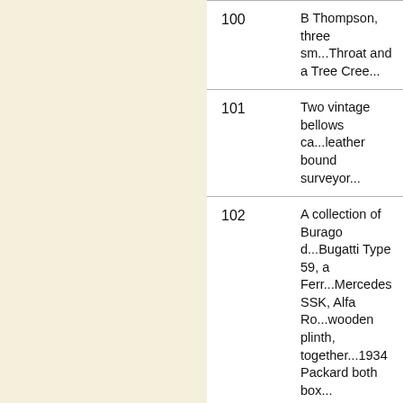| Lot | Description |
| --- | --- |
| 100 | B Thompson, three sm... Throat and a Tree Cree... |
| 101 | Two vintage bellows ca... leather bound surveyor... |
| 102 | A collection of Burago d... Bugatti Type 59, a Ferr... Mercedes SSK, Alfa Ro... wooden plinth, together... 1934 Packard both box... |
| 103 | A 20th century waterco... to background, indistinc... |
| 104 | W E Mayes early 20th c... boats on a river bend w... lower left |
| 105 | Assorted vintage horse... harness, horse brass, a... other items (1 box) |
| 106 | Assorted mainly 20th c... |